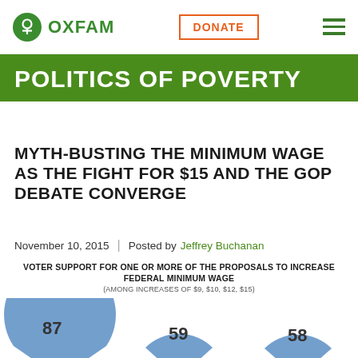OXFAM | DONATE | Navigation menu
POLITICS OF POVERTY
MYTH-BUSTING THE MINIMUM WAGE AS THE FIGHT FOR $15 AND THE GOP DEBATE CONVERGE
November 10, 2015 | Posted by Jeffrey Buchanan
[Figure (pie-chart): (AMONG INCREASES OF $9, $10, $12, $15)]